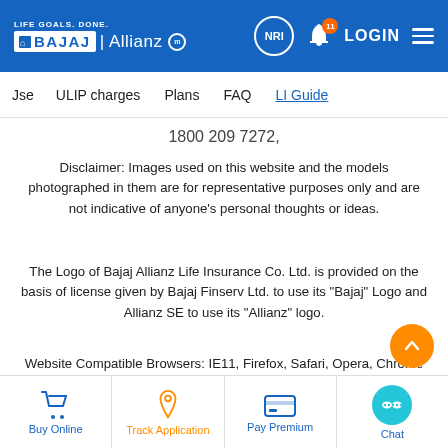[Figure (logo): Bajaj Allianz Life Insurance logo in blue header with NRI circle, bell notification badge (11), LOGIN text and hamburger menu]
Jse   ULIP charges   Plans   FAQ   LI Guide
1800 209 7272,
Disclaimer: Images used on this website and the models photographed in them are for representative purposes only and are not indicative of anyone’s personal thoughts or ideas.
The Logo of Bajaj Allianz Life Insurance Co. Ltd. is provided on the basis of license given by Bajaj Finserv Ltd. to use its “Bajaj” Logo and Allianz SE to use its “Allianz” logo.
Website Compatible Browsers: IE11, Firefox, Safari, Opera, Chrome
Buy Online   Track Application   Pay Premium   Chat